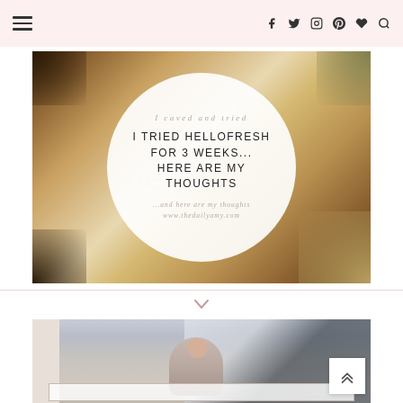Navigation bar with hamburger menu and social icons (Facebook, Twitter, Instagram, Pinterest, heart, search)
[Figure (photo): Blog post feature image for 'I Tried HelloFresh for 3 Weeks... Here Are My Thoughts' on www.thedailyamy.com. Shows a circular white overlay on a food/bokeh background with italic subtitle text and watermark 'hellofresh' in pink.]
[Figure (photo): Second blog post thumbnail showing a young child standing near a white vehicle, with a white bordered text box overlay at the bottom.]